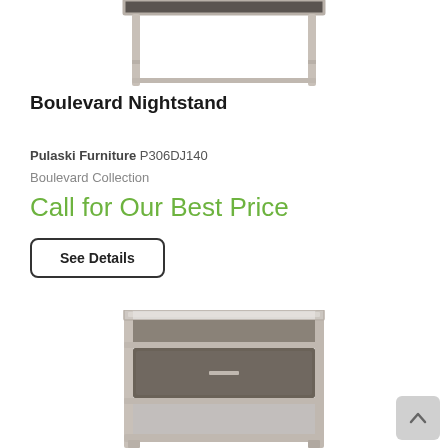[Figure (photo): Top portion of a Boulevard Nightstand furniture piece, showing legs and top surface in silver/champagne finish with dark wood top]
Boulevard Nightstand
Pulaski Furniture P306DJ140
Boulevard Collection
Call for Our Best Price
See Details
[Figure (photo): Boulevard Nightstand showing full unit with glass top, open shelf, one drawer with bar pull, and bottom shelf in silver frame with dark wood finish]